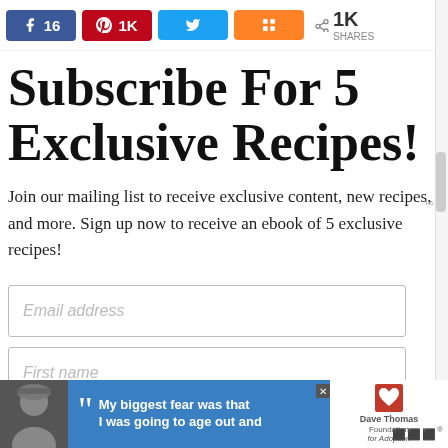[Figure (infographic): Social share bar with Facebook (16), Pinterest (1K), Twitter, Mix buttons, and 1K SHARES count]
Subscribe For 5 Exclusive Recipes!
Join our mailing list to receive exclusive content, new recipes, and more. Sign up now to receive an ebook of 5 exclusive recipes!
[Figure (other): Email address input field]
[Figure (other): First name input field]
[Figure (other): SIGN UP button in light blue]
[Figure (infographic): Ad banner at bottom: Dave Thomas Foundation for Adoption advertisement with quote 'My biggest fear was that I was going to age out and']